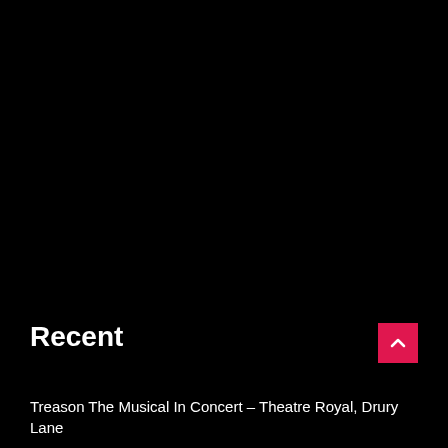[Figure (photo): Large dark/black image filling the upper portion of the page]
Recent
Treason The Musical In Concert – Theatre Royal, Drury Lane